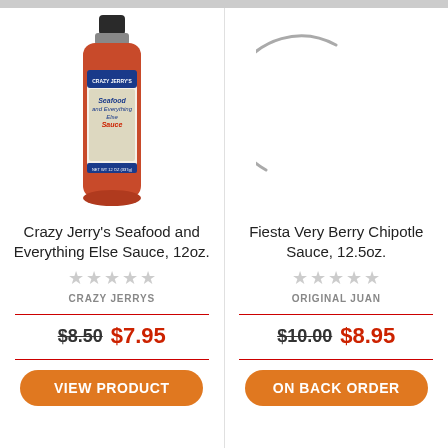[Figure (photo): Bottle of Crazy Jerry's Seafood and Everything Else Sauce, 12oz with colorful label]
[Figure (photo): Loading spinner arc indicating image not yet loaded for Fiesta Very Berry Chipotle Sauce]
Crazy Jerry's Seafood and Everything Else Sauce, 12oz.
Fiesta Very Berry Chipotle Sauce, 12.5oz.
CRAZY JERRYS
ORIGINAL JUAN
$8.50 $7.95
$10.00 $8.95
VIEW PRODUCT
ON BACK ORDER